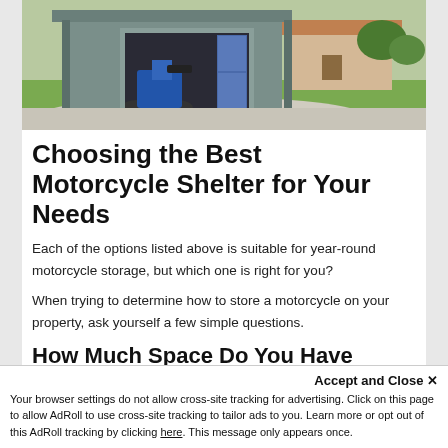[Figure (photo): A gray metal shed/garage with open doors showing a motorcycle parked inside, with blue cabinets visible, situated on a gravel pad with a green lawn and house in the background.]
Choosing the Best Motorcycle Shelter for Your Needs
Each of the options listed above is suitable for year-round motorcycle storage, but which one is right for you?
When trying to determine how to store a motorcycle on your property, ask yourself a few simple questions.
How Much Space Do You Have Available?
Accept and Close ✕
Your browser settings do not allow cross-site tracking for advertising. Click on this page to allow AdRoll to use cross-site tracking to tailor ads to you. Learn more or opt out of this AdRoll tracking by clicking here. This message only appears once.